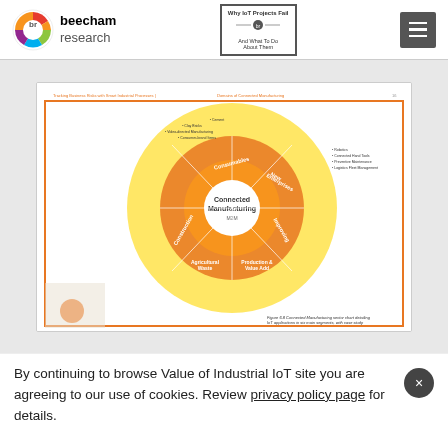[Figure (logo): Beecham Research logo — colorful 'br' circle icon and text 'beecham research']
[Figure (other): Book badge: 'Why IoT Projects Fail And What To Do About Them' with 'br' logo]
[Figure (infographic): Connected Manufacturing sector chart detailing IoT applications in six main segments, with case study. A circular/radial diagram on a document page showing Connected Manufacturing at center surrounded by segments: Consumables, New Enterprises, Improving, Production/Value Add, Agricultural Waste, Construction.]
By continuing to browse Value of Industrial IoT site you are agreeing to our use of cookies. Review privacy policy page for details.